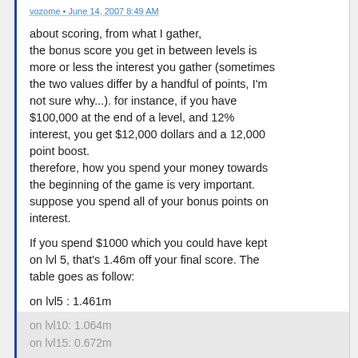vozome • June 14, 2007 8:49 AM
about scoring, from what I gather, the bonus score you get in between levels is more or less the interest you gather (sometimes the two values differ by a handful of points, I'm not sure why...). for instance, if you have $100,000 at the end of a level, and 12% interest, you get $12,000 dollars and a 12,000 point boost.
therefore, how you spend your money towards the beginning of the game is very important. suppose you spend all of your bonus points on interest.
If you spend $1000 which you could have kept on lvl 5, that's 1.46m off your final score. The table goes as follow:
on lvl5 : 1.461m
on lvl10: 1.064m
on lvl15: 0.672m